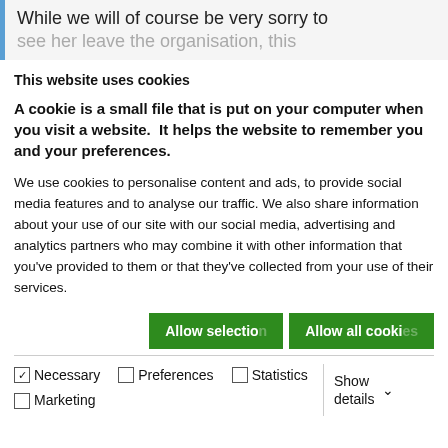While we will of course be very sorry to see her leave the organisation, this
This website uses cookies
A cookie is a small file that is put on your computer when you visit a website.  It helps the website to remember you and your preferences.
We use cookies to personalise content and ads, to provide social media features and to analyse our traffic. We also share information about your use of our site with our social media, advertising and analytics partners who may combine it with other information that you've provided to them or that they've collected from your use of their services.
Allow selection | Allow all cookies
Necessary | Preferences | Statistics | Marketing | Show details